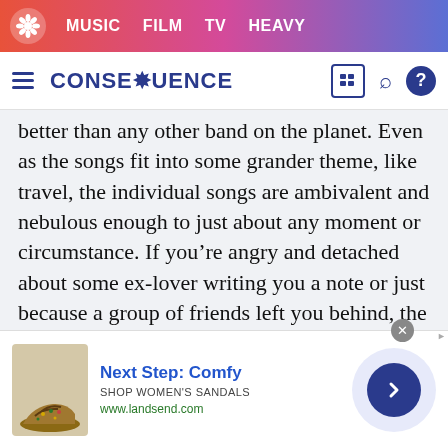MUSIC  FILM  TV  HEAVY
CONSEQUENCE
better than any other band on the planet. Even as the songs fit into some grander theme, like travel, the individual songs are ambivalent and nebulous enough to just about any moment or circumstance. If you’re angry and detached about some ex-lover writing you a note or just because a group of friends left you behind, the indignation of “Karma Police” can work for either. Whether you’re loving love or down in the dumps, Thom Yorke’s wails on a track like “Lucky” will have you celebrating or flat-lining either way. Radiohead’s
[Figure (infographic): Advertisement banner: shoe image (sandal), text 'Next Step: Comfy', 'SHOP WOMEN'S SANDALS', 'www.landsend.com', arrow button, close button]